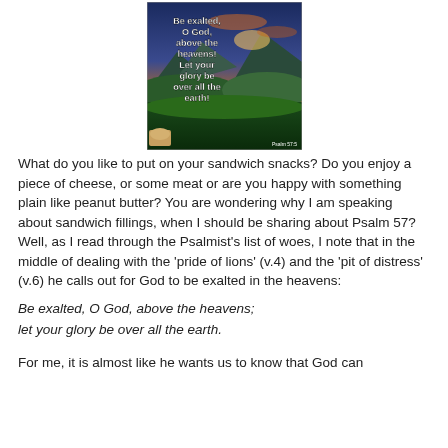[Figure (illustration): Mountain landscape at sunset with overlaid white bold text reading: 'Be exalted, O God, above the heavens! Let your glory be over all the earth!' with a small reference 'Psalm 57:5' at bottom right and a small image of bread at bottom left.]
What do you like to put on your sandwich snacks? Do you enjoy a piece of cheese, or some meat or are you happy with something plain like peanut butter? You are wondering why I am speaking about sandwich fillings, when I should be sharing about Psalm 57? Well, as I read through the Psalmist's list of woes, I note that in the middle of dealing with the 'pride of lions' (v.4) and the 'pit of distress' (v.6) he calls out for God to be exalted in the heavens:
Be exalted, O God, above the heavens;
let your glory be over all the earth.
For me, it is almost like he wants us to know that God can